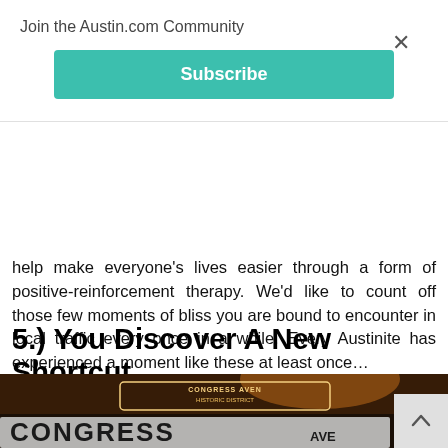Join the Austin.com Community
Subscribe
help make everyone's lives easier through a form of positive-reinforcement therapy. We'd like to count off those few moments of bliss you are bound to encounter in local traffic every once in a while. Every Austinite has experienced a moment like these at least once...
5.) You Discover A New Shortcut
[Figure (photo): Nighttime photo of Congress Avenue Historic District street sign glowing in warm light, with a larger illuminated CONGRESS AVE sign below]
×